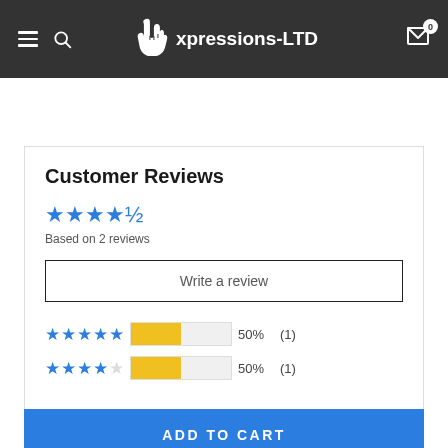Expressions-LTD
Customer Reviews
Based on 2 reviews
Write a review
[Figure (other): Star rating breakdown: 5 stars 50% (1), 4 stars 50% (1), 2 stars 0% (0)]
ADD TO CART